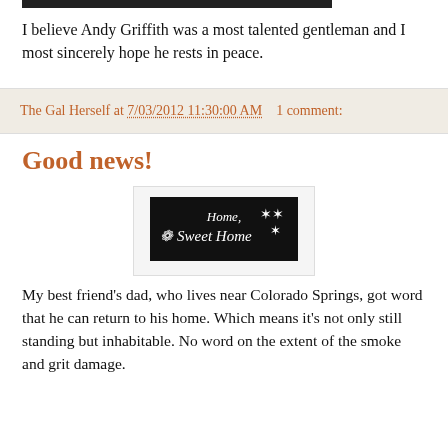I believe Andy Griffith was a most talented gentleman and I most sincerely hope he rests in peace.
The Gal Herself at 7/03/2012 11:30:00 AM   1 comment:
Good news!
[Figure (photo): A black plaque/sign with white text reading 'Home, Sweet Home' with decorative floral elements]
My best friend's dad, who lives near Colorado Springs, got word that he can return to his home. Which means it's not only still standing but inhabitable. No word on the extent of the smoke and grit damage.